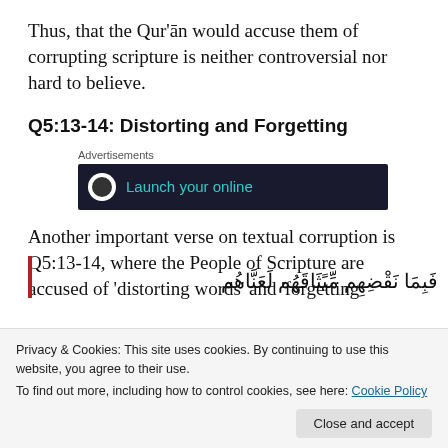Thus, that the Qur'ān would accuse them of corrupting scripture is neither controversial nor hard to believe.
Q5:13-14: Distorting and Forgetting
[Figure (screenshot): Advertisement banner with dark background showing 'Launch your online' text in teal color with a circular icon]
Another important verse on textual corruption is Q5:13-14, where the People of Scripture are accused of 'distorting words' and 'forgetting
Privacy & Cookies: This site uses cookies. By continuing to use this website, you agree to their use.
To find out more, including how to control cookies, see here: Cookie Policy
[Figure (screenshot): Arabic script text displayed in two lines at the bottom of the page]